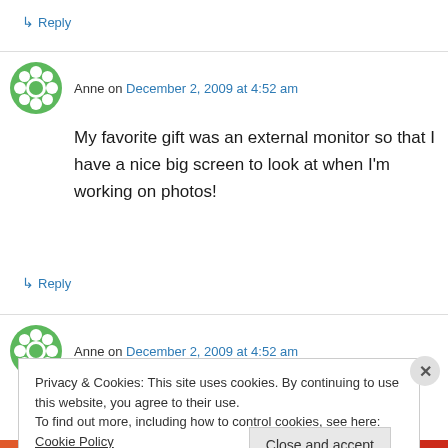↳ Reply
Anne on December 2, 2009 at 4:52 am
My favorite gift was an external monitor so that I have a nice big screen to look at when I'm working on photos!
↳ Reply
Anne on December 2, 2009 at 4:52 am
Privacy & Cookies: This site uses cookies. By continuing to use this website, you agree to their use.
To find out more, including how to control cookies, see here: Cookie Policy
Close and accept